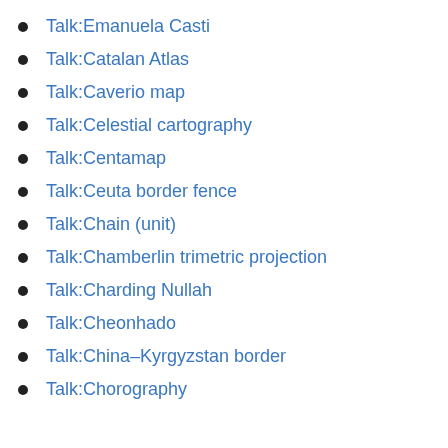Talk:Emanuela Casti
Talk:Catalan Atlas
Talk:Caverio map
Talk:Celestial cartography
Talk:Centamap
Talk:Ceuta border fence
Talk:Chain (unit)
Talk:Chamberlin trimetric projection
Talk:Charding Nullah
Talk:Cheonhado
Talk:China–Kyrgyzstan border
Talk:Chorography